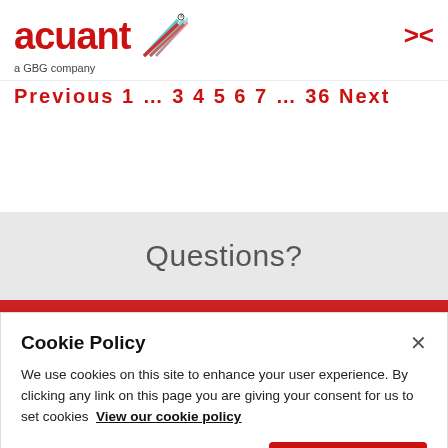[Figure (logo): Acuant logo with stylized geometric icon and 'a GBG company' tagline]
Previous 1 … 3 4 5 6 7 … 36 Next
Questions?
Cookie Policy
We use cookies on this site to enhance your user experience. By clicking any link on this page you are giving your consent for us to set cookies  View our cookie policy
No, give me more info.
Ok, I agree